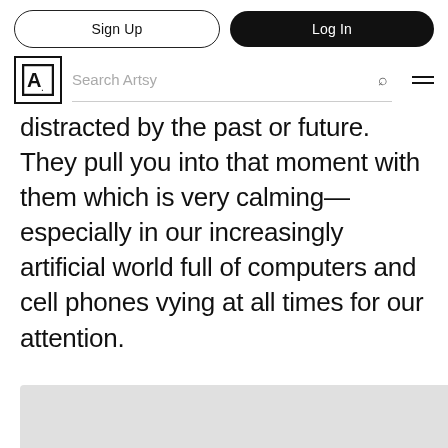Sign Up | Log In | Artsy logo | Search Artsy
distracted by the past or future. They pull you into that moment with them which is very calming—especially in our increasingly artificial world full of computers and cell phones vying at all times for our attention.
[Figure (photo): Gray placeholder image area at the bottom of the page]